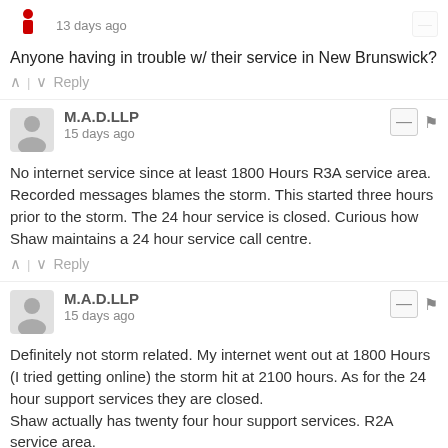13 days ago
Anyone having in trouble w/ their service in New Brunswick?
^ | v  Reply
M.A.D.LLP
15 days ago
No internet service since at least 1800 Hours R3A service area. Recorded messages blames the storm. This started three hours prior to the storm. The 24 hour service is closed. Curious how Shaw maintains a 24 hour service call centre.
^ | v  Reply
M.A.D.LLP
15 days ago
Definitely not storm related. My internet went out at 1800 Hours (I tried getting online) the storm hit at 2100 hours. As for the 24 hour support services they are closed.
Shaw actually has twenty four hour support services. R2A service area.
^ | v  Reply
Colette Crosbie